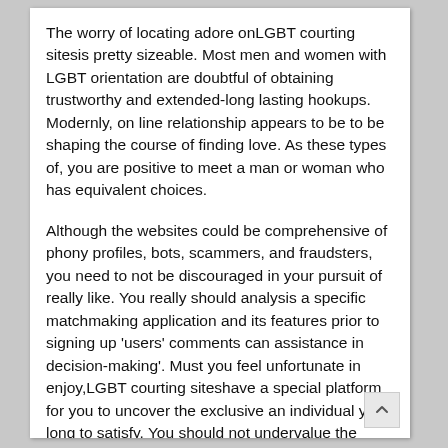The worry of locating adore onLGBT courting sitesis pretty sizeable. Most men and women with LGBT orientation are doubtful of obtaining trustworthy and extended-long lasting hookups. Modernly, on line relationship appears to be to be shaping the course of finding love. As these types of, you are positive to meet a man or woman who has equivalent choices.
Although the websites could be comprehensive of phony profiles, bots, scammers, and fraudsters, you need to not be discouraged in your pursuit of really like. You really should analysis a specific matchmaking application and its features prior to signing up 'users' comments can assistance in decision-making'. Must you feel unfortunate in enjoy,LGBT courting siteshave a special platform for you to uncover the exclusive an individual you long to satisfy. You should not undervalue the possible that lies in getting like between online daters. You can indication up, follow the regulations, and search as a result of the